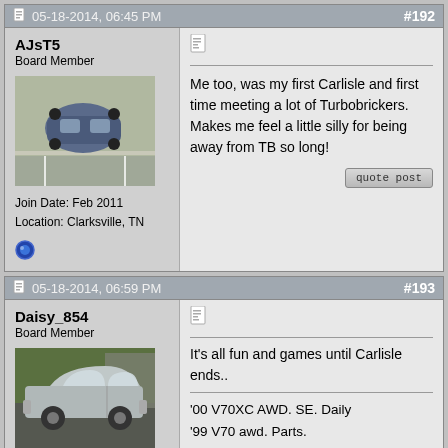05-18-2014, 06:45 PM  #192
AJsT5
Board Member
[Figure (photo): Photo of a blue Volvo car seen from above in a parking lot]
Join Date: Feb 2011
Location: Clarksville, TN
Me too, was my first Carlisle and first time meeting a lot of Turbobrickers. Makes me feel a little silly for being away from TB so long!
05-18-2014, 06:59 PM  #193
Daisy_854
Board Member
[Figure (photo): Photo of a silver/grey Volvo sedan parked on a driveway]
Join Date: May 2010
Location: CT
It's all fun and games until Carlisle ends..

'00 V70XC AWD. SE. Daily
'99 V70 awd. Parts.
'95 850 Turbo wagon. Parts.
'94 850 n/a wagon. Parts.